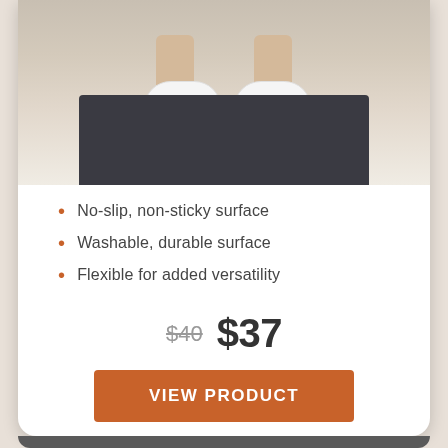[Figure (photo): Person's feet wearing white socks standing on a dark non-slip mat on a light floor, photo cropped at bottom of legs]
No-slip, non-sticky surface
Washable, durable surface
Flexible for added versatility
$40  $37
VIEW PRODUCT